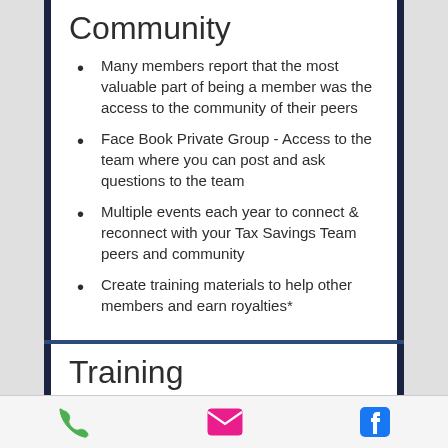Community
Many members report that the most valuable part of being a member was the access to the community of their peers
Face Book Private Group - Access to the team where you can post and ask questions to the team
Multiple events each year to connect & reconnect with your Tax Savings Team peers and community
Create training materials to help other members and earn royalties*
Training
A full suite of live and pre-recorded training...
Phone | Email | Facebook